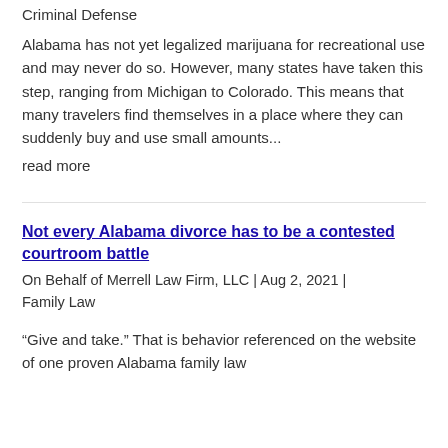Criminal Defense
Alabama has not yet legalized marijuana for recreational use and may never do so. However, many states have taken this step, ranging from Michigan to Colorado. This means that many travelers find themselves in a place where they can suddenly buy and use small amounts...
read more
Not every Alabama divorce has to be a contested courtroom battle
On Behalf of Merrell Law Firm, LLC | Aug 2, 2021 | Family Law
“Give and take.” That is behavior referenced on the website of one proven Alabama family law